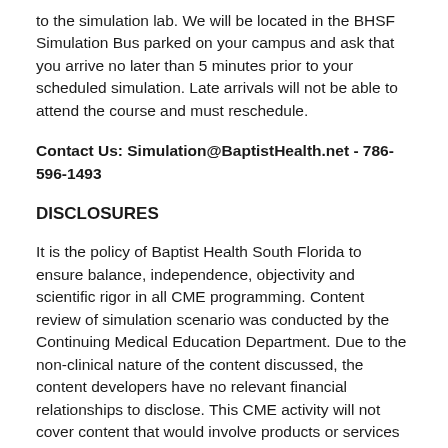to the simulation lab. We will be located in the BHSF Simulation Bus parked on your campus and ask that you arrive no later than 5 minutes prior to your scheduled simulation. Late arrivals will not be able to attend the course and must reschedule.
Contact Us: Simulation@BaptistHealth.net - 786-596-1493
DISCLOSURES
It is the policy of Baptist Health South Florida to ensure balance, independence, objectivity and scientific rigor in all CME programming. Content review of simulation scenario was conducted by the Continuing Medical Education Department. Due to the non-clinical nature of the content discussed, the content developers have no relevant financial relationships to disclose. This CME activity will not cover content that would involve products or services of commercial interests. Therefore no opportunity exists for a conflict of interest based on the financial relationships of faculty and the commercial content of content. Ple...